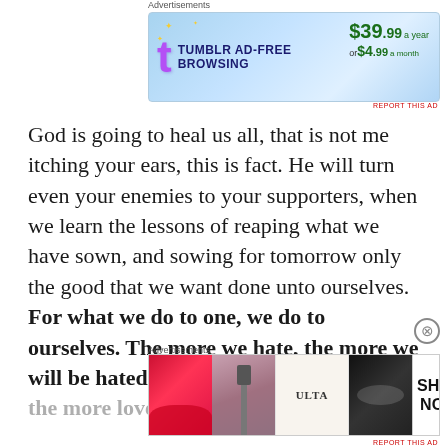Advertisements
[Figure (screenshot): Tumblr Ad-Free Browsing advertisement banner: $39.99 a year or $4.99 a month]
God is going to heal us all, that is not me itching your ears, this is fact. He will turn even your enemies to your supporters, when we learn the lessons of reaping what we have sown, and sowing for tomorrow only the good that we want done unto ourselves. For what we do to one, we do to ourselves. The more we hate, the more we will be hated, the more we love, the more love we will know
Advertisements
[Figure (screenshot): Ulta Beauty advertisement banner with makeup product images and SHOP NOW button]